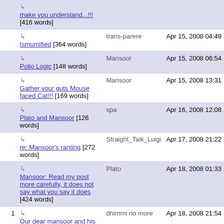| # | Title | Author | Date |
| --- | --- | --- | --- |
|  | ↳ make you understand...!!! [416 words] |  |  |
|  | ↳ Ismumified [364 words] | trans-parere | Apr 15, 2008 04:49 |
|  | ↳ Polio Logic [148 words] | Mansoor | Apr 15, 2008 06:54 |
|  | ↳ Gather your guts Mouse faced Cat!!! [169 words] | Mansoor | Apr 15, 2008 13:31 |
|  | ↳ Plato and Mansoor [126 words] | spa | Apr 16, 2008 12:08 |
|  | ↳ re: Mansoor's ranting [272 words] | Straight_Talk_Luigi | Apr 17, 2008 21:22 |
|  | ↳ Mansoor: Read my post more carefully, it does not say what you say it does [424 words] | Plato | Apr 18, 2008 01:33 |
| 1 | ↳ Our dear mansoor and his beloved [34 words] | dhimmi no more | Apr 18, 2008 21:54 |
|  | ↳ | Mansoor | Apr 22 |